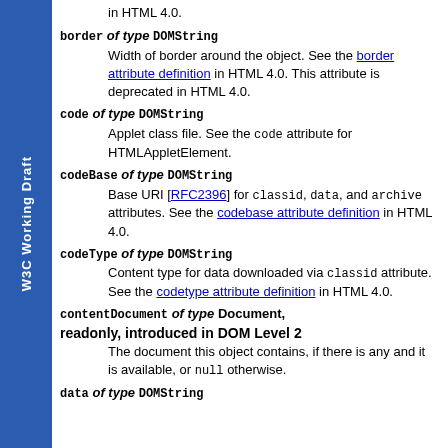in HTML 4.0.
border of type DOMString
Width of border around the object. See the border attribute definition in HTML 4.0. This attribute is deprecated in HTML 4.0.
code of type DOMString
Applet class file. See the code attribute for HTMLAppletElement.
codeBase of type DOMString
Base URI [RFC2396] for classid, data, and archive attributes. See the codebase attribute definition in HTML 4.0.
codeType of type DOMString
Content type for data downloaded via classid attribute. See the codetype attribute definition in HTML 4.0.
contentDocument of type Document, readonly, introduced in DOM Level 2
The document this object contains, if there is any and it is available, or null otherwise.
data of type DOMString